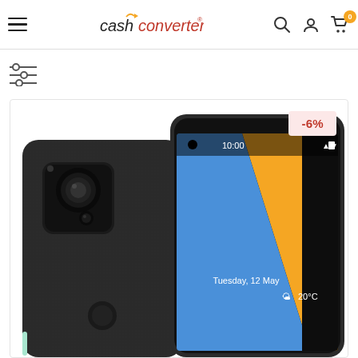Cash Converters - navigation header with hamburger menu, logo, search, account, and cart icons (cart badge: 0)
[Figure (screenshot): Filter/sliders icon with three horizontal lines and adjustment handles]
[Figure (photo): Google Pixel 4a smartphone shown from front and back. Back view shows dual camera module with fingerprint sensor on a matte black body. Front view shows the phone screen displaying Tuesday, 12 May, 20°C at 10:00 with a colorful blue and yellow wallpaper. A -6% discount badge appears in the top right of the product card.]